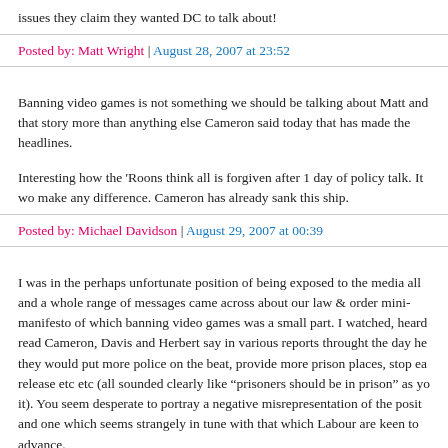issues they claim they wanted DC to talk about!
Posted by: Matt Wright | August 28, 2007 at 23:52
Banning video games is not something we should be talking about Matt and that story more than anything else Cameron said today that has made the headlines.
Interesting how the 'Roons think all is forgiven after 1 day of policy talk. It wo make any difference. Cameron has already sank this ship.
Posted by: Michael Davidson | August 29, 2007 at 00:39
I was in the perhaps unfortunate position of being exposed to the media all and a whole range of messages came across about our law & order mini-manifesto of which banning video games was a small part. I watched, heard read Cameron, Davis and Herbert say in various reports throught the day he they would put more police on the beat, provide more prison places, stop ea release etc etc (all sounded clearly like “prisoners should be in prison” as yo it). You seem desperate to portray a negative misrepresentation of the posit and one which seems strangely in tune with that which Labour are keen to advance.